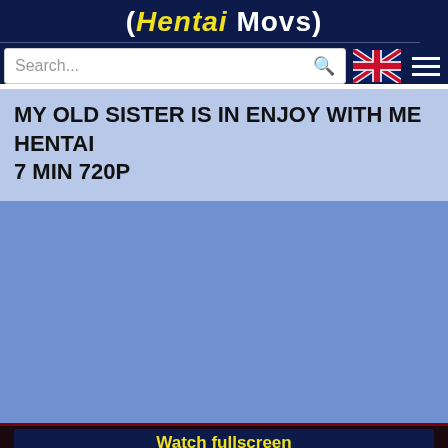( Hentai Movs )
MY OLD SISTER IS IN ENJOY WITH MEHENTAI 7 MIN 720P
[Figure (other): Video player area showing a blank blue loading screen for an anime/hentai video]
Watch fullscreen